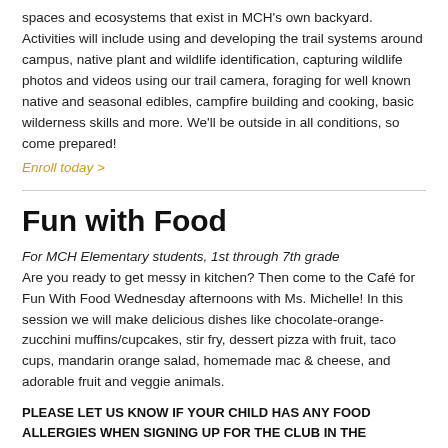spaces and ecosystems that exist in MCH's own backyard. Activities will include using and developing the trail systems around campus, native plant and wildlife identification, capturing wildlife photos and videos using our trail camera, foraging for well known native and seasonal edibles, campfire building and cooking, basic wilderness skills and more. We'll be outside in all conditions, so come prepared!
Enroll today >
Fun with Food
For MCH Elementary students, 1st through 7th grade
Are you ready to get messy in kitchen? Then come to the Café for Fun With Food Wednesday afternoons with Ms. Michelle! In this session we will make delicious dishes like chocolate-orange-zucchini muffins/cupcakes, stir fry, dessert pizza with fruit, taco cups, mandarin orange salad, homemade mac & cheese, and adorable fruit and veggie animals.
PLEASE LET US KNOW IF YOUR CHILD HAS ANY FOOD ALLERGIES WHEN SIGNING UP FOR THE CLUB IN THE COMMENT AREA SO WE CAN PLAN AHEAD. This club will be using flour and dairy and eggs,